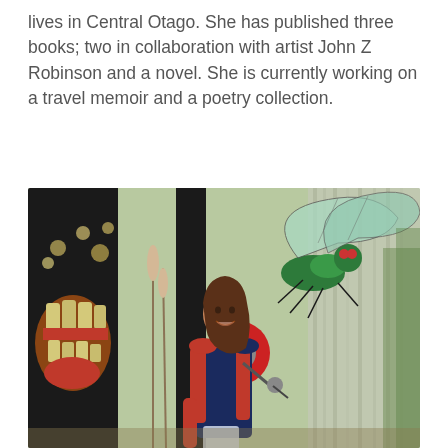lives in Central Otago. She has published three books; two in collaboration with artist John Z Robinson and a novel. She is currently working on a travel memoir and a poetry collection.
[Figure (photo): A woman with long brown hair, wearing a red cardigan and navy dress, stands at a microphone holding papers. Behind her are colorful art installations including a large green fly and an open mouth with teeth. The setting appears to be an outdoor arts festival.]